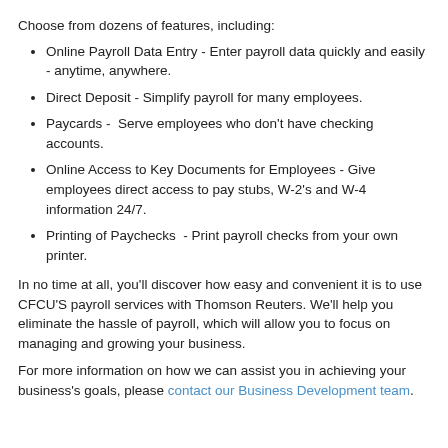Choose from dozens of features, including:
Online Payroll Data Entry - Enter payroll data quickly and easily - anytime, anywhere.
Direct Deposit - Simplify payroll for many employees.
Paycards -  Serve employees who don't have checking accounts.
Online Access to Key Documents for Employees - Give employees direct access to pay stubs, W-2's and W-4 information 24/7.
Printing of Paychecks  - Print payroll checks from your own printer.
In no time at all, you'll discover how easy and convenient it is to use CFCU'S payroll services with Thomson Reuters. We'll help you eliminate the hassle of payroll, which will allow you to focus on managing and growing your business.
For more information on how we can assist you in achieving your business's goals, please contact our Business Development team.